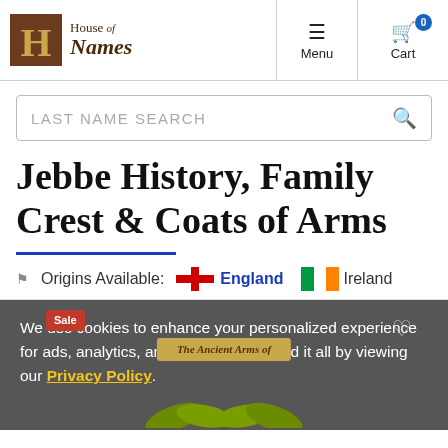[Figure (logo): House of Names logo with stylized H in brown/gold box and gothic text]
Menu
Cart 0
LAST NAME SEARCH
Jebbe History, Family Crest & Coats of Arms
Origins Available: England Ireland
We use cookies to enhance your personalized experience for ads, analytics, and more. Understand it all by viewing our Privacy Policy.